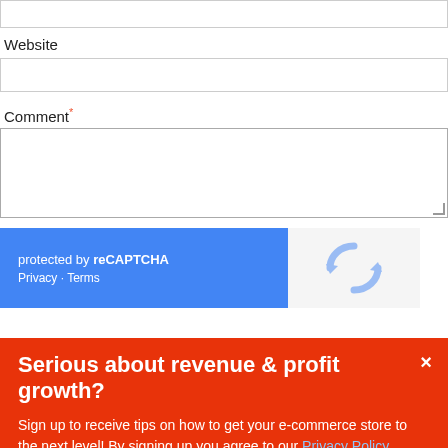Website
Comment*
[Figure (screenshot): reCAPTCHA widget: blue left panel with 'protected by reCAPTCHA' text and Privacy/Terms links, right panel with reCAPTCHA logo]
Serious about revenue & profit growth?
Sign up to receive tips on how to get your e-commerce store to the next level! By signing up you agree to our Privacy Policy.
Subscribe now